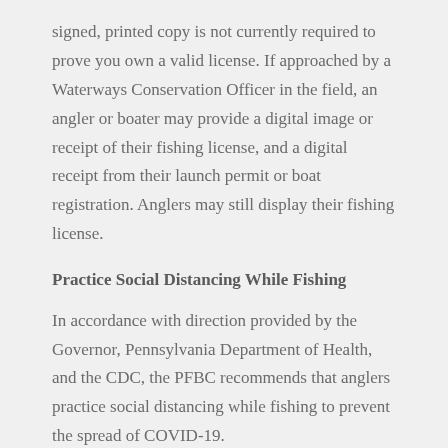signed, printed copy is not currently required to prove you own a valid license. If approached by a Waterways Conservation Officer in the field, an angler or boater may provide a digital image or receipt of their fishing license, and a digital receipt from their launch permit or boat registration. Anglers may still display their fishing license.
Practice Social Distancing While Fishing
In accordance with direction provided by the Governor, Pennsylvania Department of Health, and the CDC, the PFBC recommends that anglers practice social distancing while fishing to prevent the spread of COVID-19.